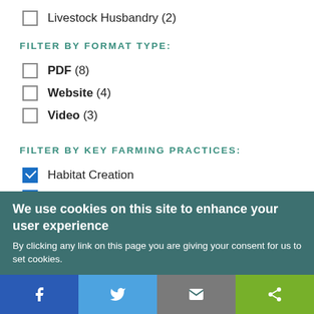Livestock Husbandry (2)
FILTER BY FORMAT TYPE:
PDF (8)
Website (4)
Video (3)
FILTER BY KEY FARMING PRACTICES:
Habitat Creation
Integrated Pest Management
We use cookies on this site to enhance your user experience
By clicking any link on this page you are giving your consent for us to set cookies.
[Figure (infographic): Social share bar with Facebook, Twitter, email, and share icons]